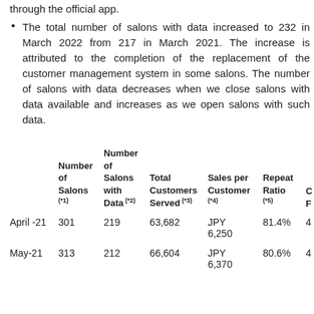through the official app.
The total number of salons with data increased to 232 in March 2022 from 217 in March 2021. The increase is attributed to the completion of the replacement of the customer management system in some salons. The number of salons with data decreases when we close salons with data available and increases as we open salons with such data.
|  | Number of Salons (*1) | Number of Salons with Data (*2) | Total Customers Served (*3) | Sales per Customer (*4) | Repeat Ratio (*5) | C F |
| --- | --- | --- | --- | --- | --- | --- |
| April -21 | 301 | 219 | 63,682 | JPY 6,250 | 81.4% | 4 |
| May-21 | 313 | 212 | 66,604 | JPY 6,370 | 80.6% | 4 |